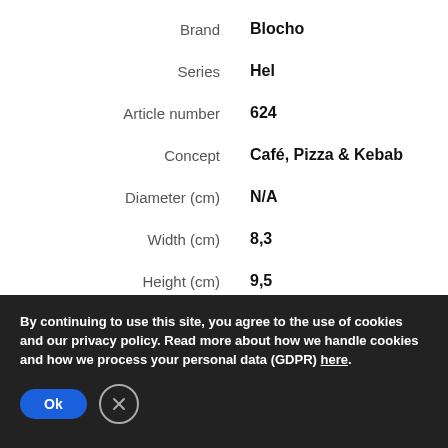| Attribute | Value |
| --- | --- |
| Brand | Blocho |
| Series | Hel |
| Article number | 624 |
| Concept | Café, Pizza & Kebab |
| Diameter (cm) | N/A |
| Width (cm) | 8,3 |
| Height (cm) | 9,5 |
By continuing to use this site, you agree to the use of cookies and our privacy policy. Read more about how we handle cookies and how we process your personal data (GDPR) here.
Ok